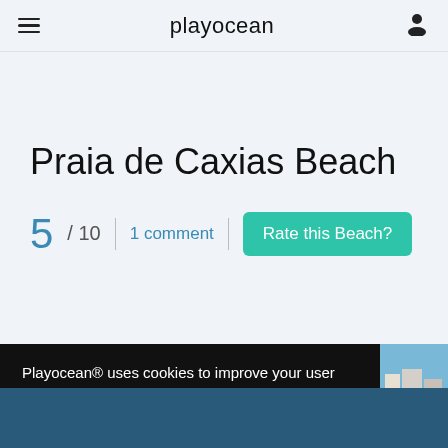playocean
Praia de Caxias Beach
5 / 10  |  1 comment  |  Rate this Beach?
Playocean® uses cookies to improve your user experience. Know more
Ok!